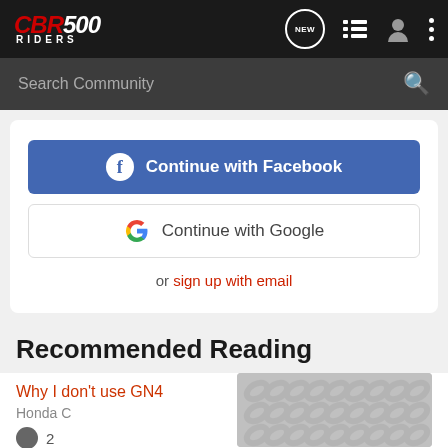CBR500 RIDERS
Search Community
[Figure (screenshot): Continue with Facebook button (blue) and Continue with Google button (white), with 'or sign up with email' link below]
Recommended Reading
Why I don't use GN4
Honda C...
2